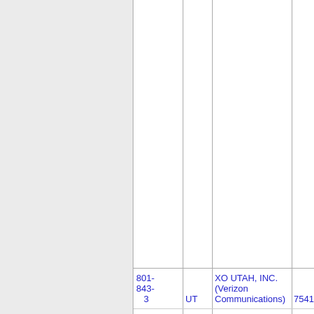| Phone | State | Company | Number | City |
| --- | --- | --- | --- | --- |
| 801-843-3 | UT | XO UTAH, INC. (Verizon Communications) | 7541 | OGDE... |